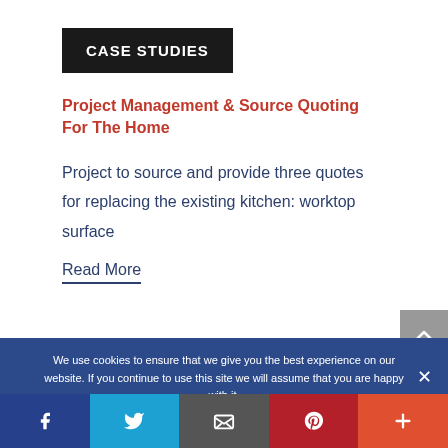CASE STUDIES
Project Management & Source Quoting For The Home
Project to source and provide three quotes for replacing the existing kitchen: worktop surface
Read More
We use cookies to ensure that we give you the best experience on our website. If you continue to use this site we will assume that you are happy with it.